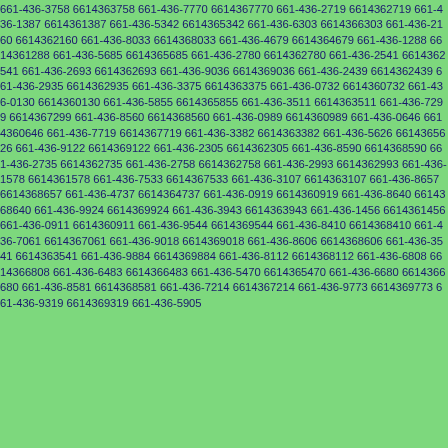661-436-3758 6614363758 661-436-7770 6614367770 661-436-2719 6614362719 661-436-1387 6614361387 661-436-5342 6614365342 661-436-6303 6614366303 661-436-2160 6614362160 661-436-8033 6614368033 661-436-4679 6614364679 661-436-1288 6614361288 661-436-5685 6614365685 661-436-2780 6614362780 661-436-2541 6614362541 661-436-2693 6614362693 661-436-9036 6614369036 661-436-2439 6614362439 661-436-2935 6614362935 661-436-3375 6614363375 661-436-0732 6614360732 661-436-0130 6614360130 661-436-5855 6614365855 661-436-3511 6614363511 661-436-7299 6614367299 661-436-8560 6614368560 661-436-0989 6614360989 661-436-0646 6614360646 661-436-7719 6614367719 661-436-3382 6614363382 661-436-5626 6614365626 661-436-9122 6614369122 661-436-2305 6614362305 661-436-8590 6614368590 661-436-2735 6614362735 661-436-2758 6614362758 661-436-2993 6614362993 661-436-1578 6614361578 661-436-7533 6614367533 661-436-3107 6614363107 661-436-8657 6614368657 661-436-4737 6614364737 661-436-0919 6614360919 661-436-8640 6614368640 661-436-9924 6614369924 661-436-3943 6614363943 661-436-1456 6614361456 661-436-0911 6614360911 661-436-9544 6614369544 661-436-8410 6614368410 661-436-7061 6614367061 661-436-9018 6614369018 661-436-8606 6614368606 661-436-3541 6614363541 661-436-9884 6614369884 661-436-8112 6614368112 661-436-6808 6614366808 661-436-6483 6614366483 661-436-5470 6614365470 661-436-6680 6614366680 661-436-8581 6614368581 661-436-7214 6614367214 661-436-9773 6614369773 661-436-9319 6614369319 661-436-5905